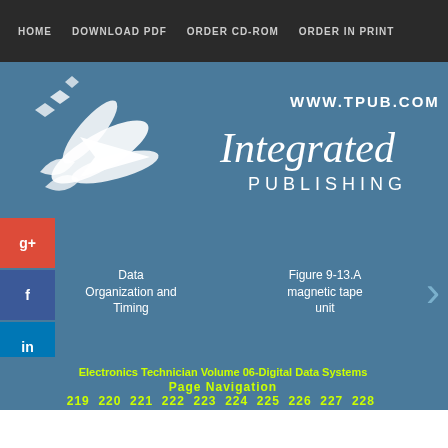HOME   DOWNLOAD PDF   ORDER CD-ROM   ORDER IN PRINT
[Figure (logo): Integrated Publishing logo with bird/arrow graphic and text 'WWW.TPUB.COM Integrated PUBLISHING' on blue background]
Data Organization and Timing
Figure 9-13.A magnetic tape unit
Electronics Technician Volume 06-Digital Data Systems
Page Navigation
219 220 221 222 223 224 225 226 227 228 229